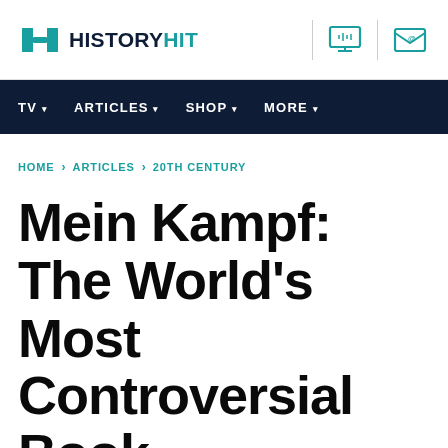HISTORYHIT
TV · ARTICLES · SHOP · MORE
HOME > ARTICLES > 20TH CENTURY
Mein Kampf: The World's Most Controversial Book